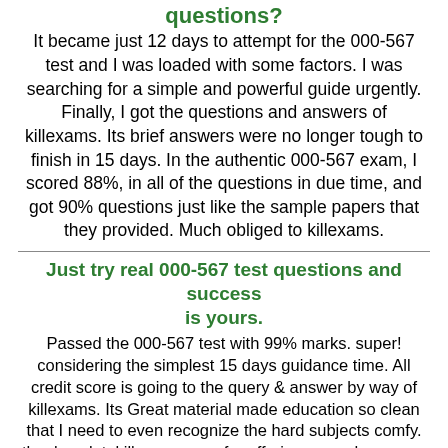questions?
It became just 12 days to attempt for the 000-567 test and I was loaded with some factors. I was searching for a simple and powerful guide urgently. Finally, I got the questions and answers of killexams. Its brief answers were no longer tough to finish in 15 days. In the authentic 000-567 exam, I scored 88%, in all of the questions in due time, and got 90% questions just like the sample papers that they provided. Much obliged to killexams.
Just try real 000-567 test questions and success is yours.
Passed the 000-567 test with 99% marks. super! considering the simplest 15 days guidance time. All credit score is going to the query & answer by way of killexams. Its Great material made education so clean that I need to even recognize the hard subjects comfy. thanks a lot, killexams.com for offering us such an easy and powerful observation guide. wish your team maintains on growing extra of such guides for other IT certification exams.